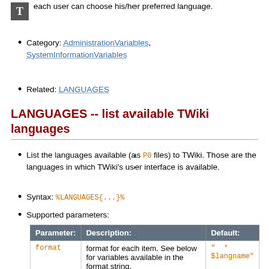each user can choose his/her preferred language.
Category: AdministrationVariables, SystemInformationVariables
Related: LANGUAGES
LANGUAGES -- list available TWiki languages
List the languages available (as P0 files) to TWiki. Those are the languages in which TWiki's user interface is available.
Syntax: %LANGUAGES{...}%
Supported parameters:
| Parameter: | Description: | Default: |
| --- | --- | --- |
| format | format for each item. See below for variables available in the format string. | " * $langname" |